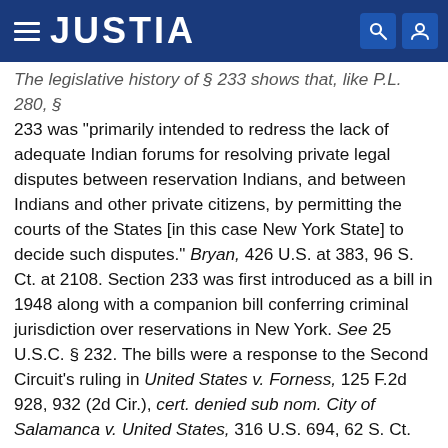JUSTIA
The legislative history of § 233 shows that, like P.L. 280, § 233 was "primarily intended to redress the lack of adequate Indian forums for resolving private legal disputes between reservation Indians, and between Indians and other private citizens, by permitting the courts of the States [in this case New York State] to decide such disputes." Bryan, 426 U.S. at 383, 96 S. Ct. at 2108. Section 233 was first introduced as a bill in 1948 along with a companion bill conferring criminal jurisdiction over reservations in New York. See 25 U.S.C. § 232. The bills were a response to the Second Circuit's ruling in United States v. Forness, 125 F.2d 928, 932 (2d Cir.), cert. denied sub nom. City of Salamanca v. United States, 316 U.S. 694, 62 S. Ct. 1293, 86 L. Ed. 1764 (1942) that "state law does not apply to the Indians except so far as the United States has given its consent." Shortly after the Forness decision, New York established the Joint